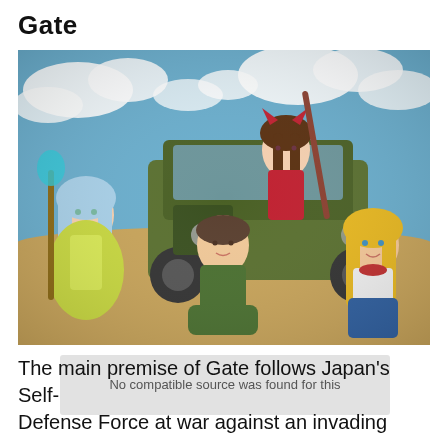Gate
[Figure (illustration): Anime illustration showing four characters posing in front of a military jeep on a sandy/desert terrain with a blue cloudy sky. Characters include a blue-haired girl in a yellow-green dress holding a staff, a male soldier in green military uniform, a girl with brown hair in red outfit with cat ears sitting on the jeep roof holding a staff, and a blonde girl in jeans and white top.]
The main premise of Gate follows Japan's Self-Defense Force at war against an invading